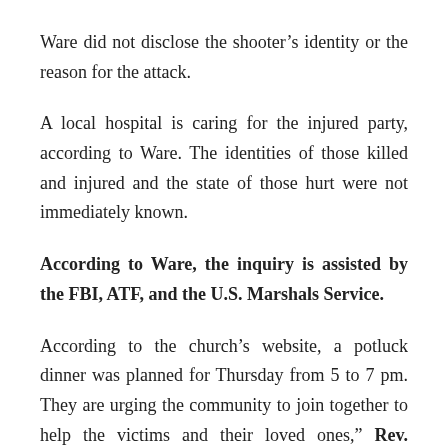Ware did not disclose the shooter's identity or the reason for the attack.
A local hospital is caring for the injured party, according to Ware. The identities of those killed and injured and the state of those hurt were not immediately known.
According to Ware, the inquiry is assisted by the FBI, ATF, and the U.S. Marshals Service.
According to the church's website, a potluck dinner was planned for Thursday from 5 to 7 pm. They are urging the community to join together to help the victims and their loved ones," Rev. Kelley Hudlow, who serves in Bishop Glenda Curry's office, told WVTM-13.
Episcopalian Hudlow explained: “We believe in Jesus, and we feel that praying helps.” For the time being, we are focusing our